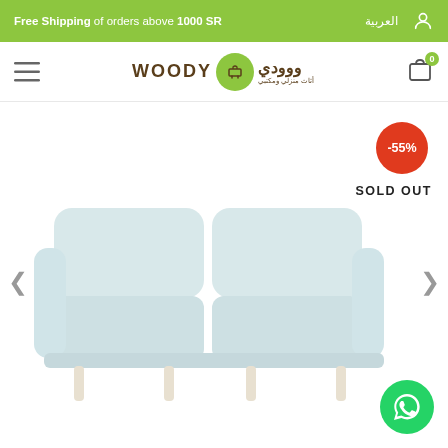Free Shipping of orders above 1000 SR | العربية
[Figure (logo): Woody Home Office Furniture logo with Arabic text ووودي]
[Figure (other): Light gray two-seater sofa with white legs, product image with -55% discount badge and SOLD OUT label]
-55%
SOLD OUT